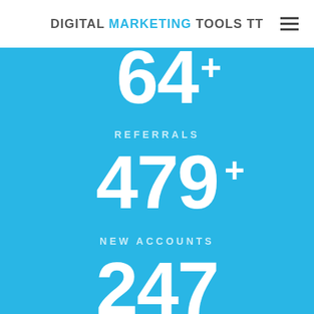DIGITAL MARKETING TOOLS TT
64+
REFERRALS
479+
NEW ACCOUNTS
247